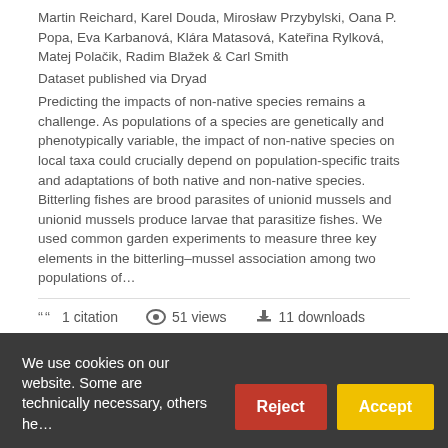Martin Reichard, Karel Douda, Mirosław Przybylski, Oana P. Popa, Eva Karbanová, Klára Matasová, Kateřina Rylková, Matej Polačik, Radim Blažek & Carl Smith
Dataset published via Dryad
Predicting the impacts of non-native species remains a challenge. As populations of a species are genetically and phenotypically variable, the impact of non-native species on local taxa could crucially depend on population-specific traits and adaptations of both native and non-native species. Bitterling fishes are brood parasites of unionid mussels and unionid mussels produce larvae that parasitize fishes. We used common garden experiments to measure three key elements in the bitterling–mussel association among two populations of...
1 citation   51 views   11 downloads
https://doi.org/10.5061/dryad.pm10j
Cite
We use cookies on our website. Some are technically necessary, others he...